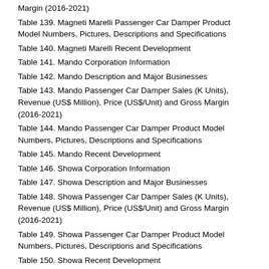Margin (2016-2021)
Table 139. Magneti Marelli Passenger Car Damper Product Model Numbers, Pictures, Descriptions and Specifications
Table 140. Magneti Marelli Recent Development
Table 141. Mando Corporation Information
Table 142. Mando Description and Major Businesses
Table 143. Mando Passenger Car Damper Sales (K Units), Revenue (US$ Million), Price (US$/Unit) and Gross Margin (2016-2021)
Table 144. Mando Passenger Car Damper Product Model Numbers, Pictures, Descriptions and Specifications
Table 145. Mando Recent Development
Table 146. Showa Corporation Information
Table 147. Showa Description and Major Businesses
Table 148. Showa Passenger Car Damper Sales (K Units), Revenue (US$ Million), Price (US$/Unit) and Gross Margin (2016-2021)
Table 149. Showa Passenger Car Damper Product Model Numbers, Pictures, Descriptions and Specifications
Table 150. Showa Recent Development